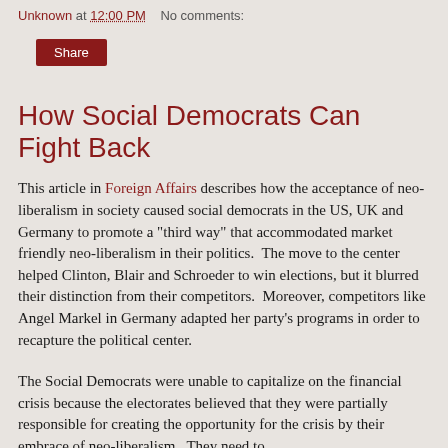Unknown at 12:00 PM    No comments:
Share
How Social Democrats Can Fight Back
This article in Foreign Affairs describes how the acceptance of neo-liberalism in society caused social democrats in the US, UK and Germany to promote a "third way" that accommodated market friendly neo-liberalism in their politics.  The move to the center helped Clinton, Blair and Schroeder to win elections, but it blurred their distinction from their competitors.  Moreover, competitors like Angel Markel in Germany adapted her party's programs in order to recapture the political center.
The Social Democrats were unable to capitalize on the financial crisis because the electorates believed that they were partially responsible for creating the opportunity for the crisis by their embrace of neo-liberalism.  They need to